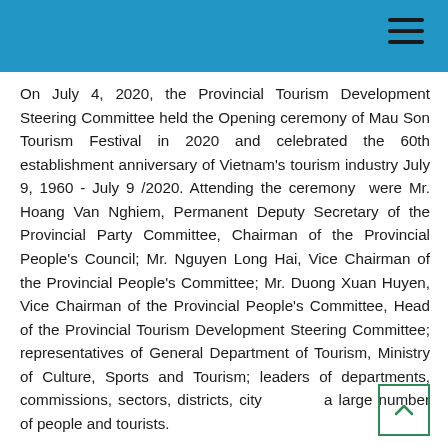On July 4, 2020, the Provincial Tourism Development Steering Committee held the Opening ceremony of Mau Son Tourism Festival in 2020 and celebrated the 60th establishment anniversary of Vietnam's tourism industry July 9, 1960 - July 9 /2020. Attending the ceremony were Mr. Hoang Van Nghiem, Permanent Deputy Secretary of the Provincial Party Committee, Chairman of the Provincial People's Council; Mr. Nguyen Long Hai, Vice Chairman of the Provincial People's Committee; Mr. Duong Xuan Huyen, Vice Chairman of the Provincial People's Committee, Head of the Provincial Tourism Development Steering Committee; representatives of General Department of Tourism, Ministry of Culture, Sports and Tourism; leaders of departments, commissions, sectors, districts, city and a large number of people and tourists.